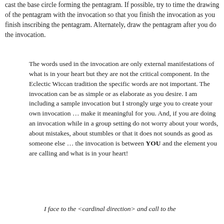cast the base circle forming the pentagram. If possible, try to time the drawing of the pentagram with the invocation so that you finish the invocation as you finish inscribing the pentagram. Alternately, draw the pentagram after you do the invocation.
The words used in the invocation are only external manifestations of what is in your heart but they are not the critical component. In the Eclectic Wiccan tradition the specific words are not important. The invocation can be as simple or as elaborate as you desire. I am including a sample invocation but I strongly urge you to create your own invocation … make it meaningful for you. And, if you are doing an invocation while in a group setting do not worry about your words, about mistakes, about stumbles or that it does not sounds as good as someone else … the invocation is between YOU and the element you are calling and what is in your heart!
I face to the <cardinal direction> and call to the